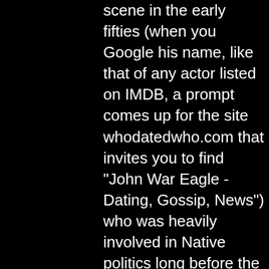scene in the early fifties (when you Google his name, like that of any actor listed on IMDB, a prompt comes up for the site whodatedwho.com that invites you to find "John War Eagle - Dating, Gossip, News") who was heavily involved in Native politics long before the militant Indian movement of the late sixties. The same month Silverheels emerged for about five seconds in the whimsically titled